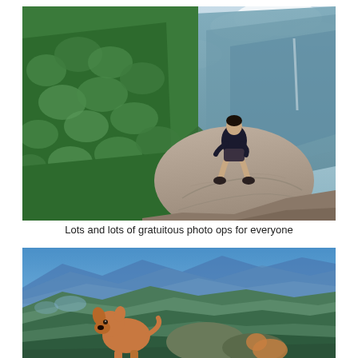[Figure (photo): A person sitting on top of a large boulder at a mountain viewpoint, surrounded by lush green forested mountains and misty clouds in the background.]
Lots and lots of gratuitous photo ops for everyone
[Figure (photo): A brown dog sitting on a mountain summit with a panoramic view of blue mountain ranges, valleys, and green hills stretching to the horizon.]